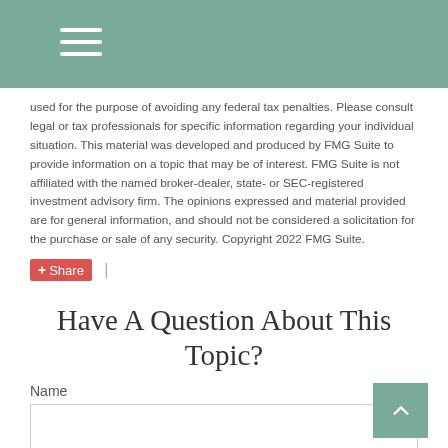Navigation menu header bar
used for the purpose of avoiding any federal tax penalties. Please consult legal or tax professionals for specific information regarding your individual situation. This material was developed and produced by FMG Suite to provide information on a topic that may be of interest. FMG Suite is not affiliated with the named broker-dealer, state- or SEC-registered investment advisory firm. The opinions expressed and material provided are for general information, and should not be considered a solicitation for the purchase or sale of any security. Copyright 2022 FMG Suite.
Share |
Have A Question About This Topic?
Name
Email